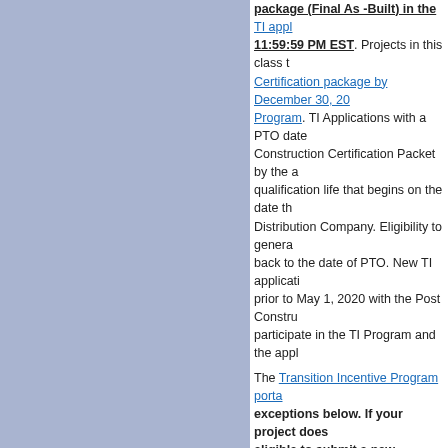[Figure (other): Blue-gray left panel background]
package (Final As -Built) in the TI appl... 11:59:59 PM EST. Projects in this class t... Certification package by December 30, 20... Program. TI Applications with a PTO date... Construction Certification Packet by the a... qualification life that begins on the date th... Distribution Company. Eligibility to genera... back to the date of PTO. New TI applicati... prior to May 1, 2020 with the Post Constru... participate in the TI Program and the appl...
The Transition Incentive Program porta... exceptions below. If your project does ... eligible to submit a new application for... participate in the ADI Program and can...
The Transition Incentive Program close... PM EST, with two exceptions:
New applications from Year 2 Co... selection by NJBPU
Subsection (t) projects that appl... 2021, at 11:59:59 p.m. EST. The... certification for TREC eligibility p... certification by the Board, these ... even if the Board grants conditio...
TI Applications that have been issued an a... Final As-Built packet and complete in the ...
For additional detailed information...